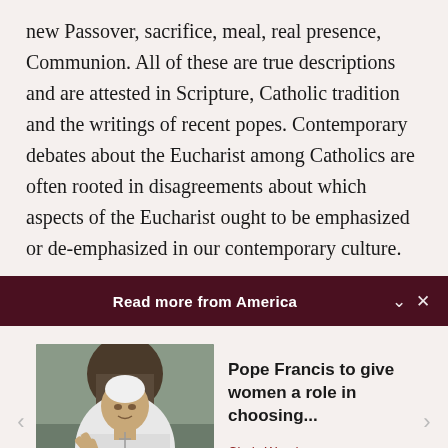new Passover, sacrifice, meal, real presence, Communion. All of these are true descriptions and are attested in Scripture, Catholic tradition and the writings of recent popes. Contemporary debates about the Eucharist among Catholics are often rooted in disagreements about which aspects of the Eucharist ought to be emphasized or de-emphasized in our contemporary culture.
Read more from America
[Figure (photo): Photo of Pope Francis gesturing with his hand, wearing white papal vestments, seated indoors]
Pope Francis to give women a role in choosing...
Cindy Wooden - Catholic News Service